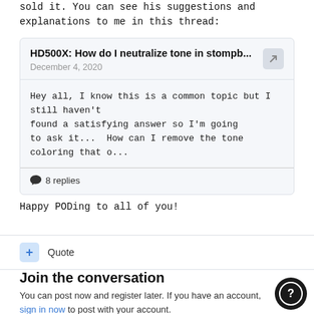sold it. You can see his suggestions and explanations to me in this thread:
[Figure (screenshot): Embedded forum thread card showing title 'HD500X: How do I neutralize tone in stompb...' dated December 4, 2020, with preview text 'Hey all, I know this is a common topic but I still haven't found a satisfying answer so I'm going to ask it...  How can I remove the tone coloring that o...' and '8 replies' indicator]
Happy PODing to all of you!
+ Quote
Join the conversation
You can post now and register later. If you have an account, sign in now to post with your account.